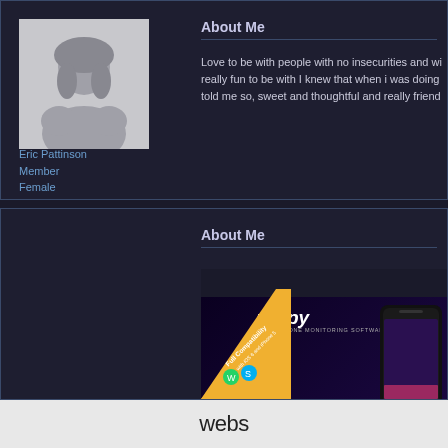[Figure (screenshot): Social networking profile page screenshot showing user 'Eric Pattinson' with default avatar, Member, Female, and About Me section with truncated text. Below is another About Me section with mSpy advertisement image and phone mockup. At the bottom is a 'webs' platform logo on a light background.]
Eric Pattinson
Member
Female
About Me
Love to be with people with no insecurities and wi... really fun to be with I knew that when i was doing... told me so, sweet and thoughtful and really friend...
About Me
webs